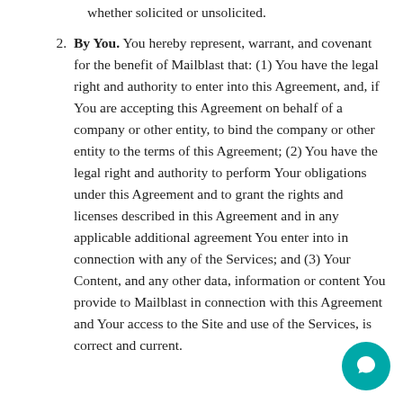whether solicited or unsolicited.
By You. You hereby represent, warrant, and covenant for the benefit of Mailblast that: (1) You have the legal right and authority to enter into this Agreement, and, if You are accepting this Agreement on behalf of a company or other entity, to bind the company or other entity to the terms of this Agreement; (2) You have the legal right and authority to perform Your obligations under this Agreement and to grant the rights and licenses described in this Agreement and in any applicable additional agreement You enter into in connection with any of the Services; and (3) Your Content, and any other data, information or content You provide to Mailblast in connection with this Agreement and Your access to the Site and use of the Services, is correct and current.